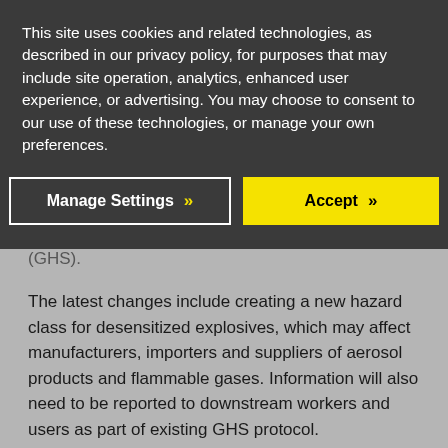This site uses cookies and related technologies, as described in our privacy policy, for purposes that may include site operation, analytics, enhanced user experience, or advertising. You may choose to consent to our use of these technologies, or manage your own preferences.
Manage Settings >> | Accept >>
Globally Harmonized System of Classification (GHS).
The latest changes include creating a new hazard class for desensitized explosives, which may affect manufacturers, importers and suppliers of aerosol products and flammable gases. Information will also need to be reported to downstream workers and users as part of existing GHS protocol.
Chemical ERP software can help to manage the compliance burden placed on your manufacturing business, by integrating reporting for GHS requirements and automatically creating Safety Data Sheets within the system. A good ERP platform will also be able to store documentation centrally in the cloud, for